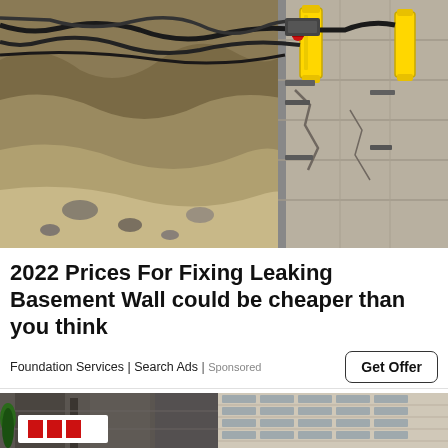[Figure (photo): Construction/excavation photo showing hydraulic jacking equipment with yellow cylinders attached to a cracked concrete foundation wall, with soil and hoses visible]
2022 Prices For Fixing Leaking Basement Wall could be cheaper than you think
Foundation Services | Search Ads | Sponsored
[Figure (photo): Photo of two buildings against a blue sky — a dark brutalist building on the left and a modern lighter-colored high-rise on the right, with a tree visible]